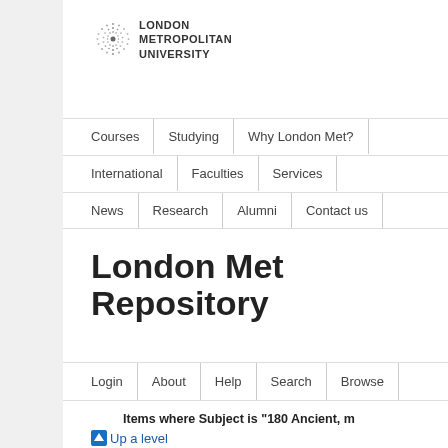[Figure (logo): London Metropolitan University logo with circular dot pattern and bold text]
Courses | Studying | Why London Met? | International | Faculties | Services | News | Research | Alumni | Contact us
London Met Repository
Login | About | Help | Search | Browse
Items where Subject is "180 Ancient, m
Up a level